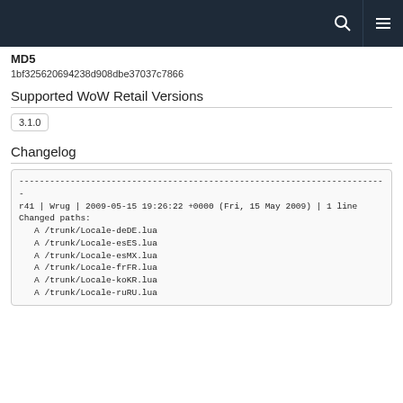MD5
1bf325620694238d908dbe37037c7866
Supported WoW Retail Versions
3.1.0
Changelog
------------------------------------------------------------------------
r41 | Wrug | 2009-05-15 19:26:22 +0000 (Fri, 15 May 2009) | 1 line
Changed paths:
   A /trunk/Locale-deDE.lua
   A /trunk/Locale-esES.lua
   A /trunk/Locale-esMX.lua
   A /trunk/Locale-frFR.lua
   A /trunk/Locale-koKR.lua
   A /trunk/Locale-ruRU.lua